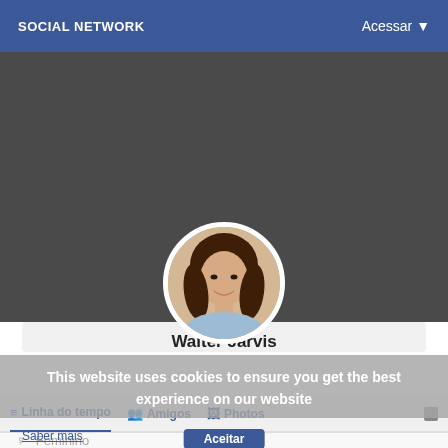SOCIAL NETWORK   Acessar ▼
[Figure (photo): Dark gray cover photo banner]
[Figure (photo): Circular profile photo of a young woman with long brown hair and blue shirt]
Walter Jarvis
This website uses cookies to ensure you get the best experience on our website
📋 Linha do tempo
👥 Amigos
🖼 Photos
Saber mais
Aceitar
Feminino